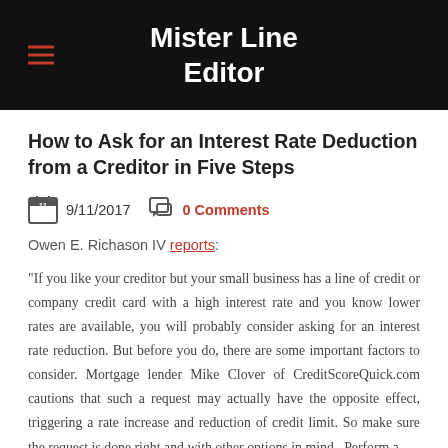Mister Line Editor
How to Ask for an Interest Rate Deduction from a Creditor in Five Steps
9/11/2017   0 Comments
Owen E. Richason IV reports:
"If you like your creditor but your small business has a line of credit or company credit card with a high interest rate and you know lower rates are available, you will probably consider asking for an interest rate reduction. But before you do, there are some important factors to consider. Mortgage lender Mike Clover of CreditScoreQuick.com cautions that such a request may actually have the opposite effect, triggering a rate increase and reduction of credit limit. So make sure the request is done right and with other options in mind...Perform a